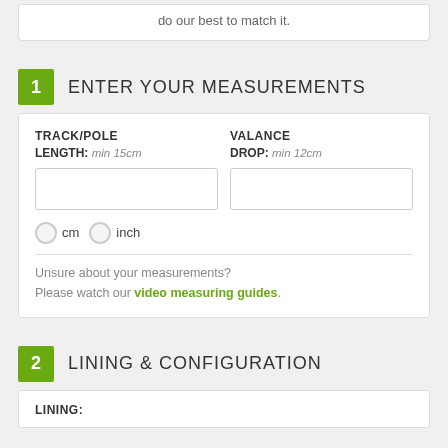do our best to match it.
1 ENTER YOUR MEASUREMENTS
TRACK/POLE LENGTH: min 15cm    VALANCE DROP: min 12cm
cm  inch
Unsure about your measurements?
Please watch our video measuring guides.
2 LINING & CONFIGURATION
LINING: